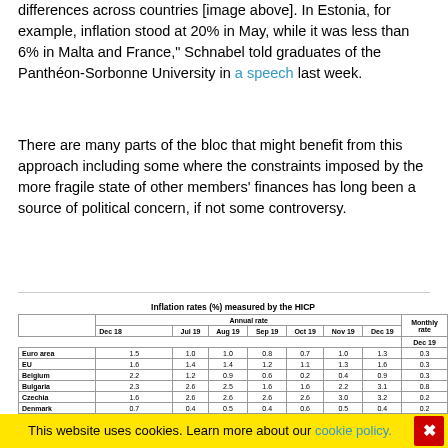differences across countries [image above]. In Estonia, for example, inflation stood at 20% in May, while it was less than 6% in Malta and France," Schnabel told graduates of the Panthéon-Sorbonne University in a speech last week.
There are many parts of the bloc that might benefit from this approach including some where the constraints imposed by the more fragile state of other members' finances has long been a source of political concern, if not some controversy.
|  | Dec 18 | Jul 19 | Aug 19 | Sep 19 | Oct 19 | Nov 19 | Dec 19 | Dec 19 (Monthly rate) |
| --- | --- | --- | --- | --- | --- | --- | --- | --- |
| Euro area | 1.5 | 1.0 | 1.0 | 0.8 | 0.7 | 1.0 | 1.3 | 0.3 |
| EU | 1.6 | 1.4 | 1.4 | 1.2 | 1.1 | 1.3 | 1.6 | 0.3 |
| Belgium | 2.2 | 1.2 | 0.9 | 0.6 | 0.2 | 0.4 | 0.9 | 0.3 |
| Bulgaria | 2.3 | 2.6 | 2.5 | 1.6 | 1.6 | 2.2 | 3.1 | 0.8 |
| Czechia | 1.6 | 2.6 | 2.6 | 2.6 | 2.6 | 3.0 | 3.2 | 0.2 |
| Denmark | 0.7 | 0.4 | 0.5 | 0.4 | 0.6 | 0.5 | 0.4 | 0.2 |
This website uses cookies. Learn more about our cookie policy.